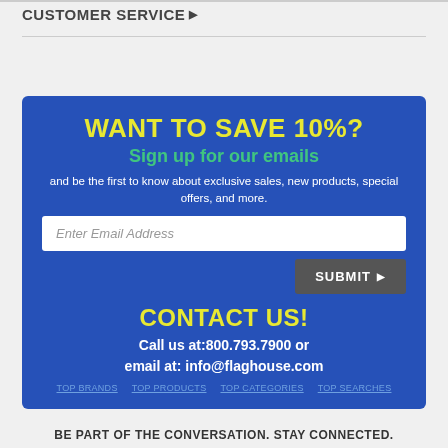CUSTOMER SERVICE ▶
[Figure (infographic): Blue promotional box with email signup form and contact information. Contains 'WANT TO SAVE 10%?' headline in yellow, 'Sign up for our emails' in green, description text, email input field, SUBMIT button, 'CONTACT US!' headline, phone number 800.793.7900, and email info@flaghouse.com. Footer links: TOP BRANDS, TOP PRODUCTS, TOP CATEGORIES, TOP SEARCHES.]
BE PART OF THE CONVERSATION. STAY CONNECTED.